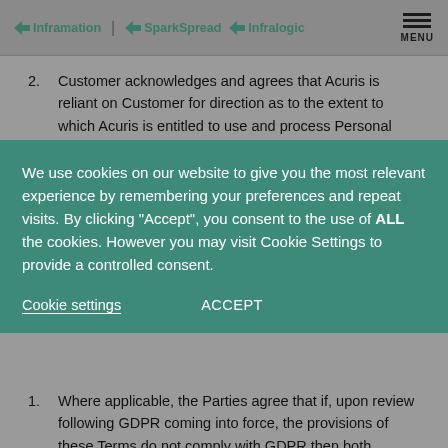Inframation | SparkSpread | Infralogic — MENU
2. Customer acknowledges and agrees that Acuris is reliant on Customer for direction as to the extent to which Acuris is entitled to use and process Personal
[Figure (screenshot): Cookie consent overlay banner with teal background containing text: 'We use cookies on our website to give you the most relevant experience by remembering your preferences and repeat visits. By clicking "Accept", you consent to the use of ALL the cookies. However you may visit Cookie Settings to provide a controlled consent.' with 'Cookie settings' and 'ACCEPT' buttons.]
1. Where applicable, the Parties agree that if, upon review following GDPR coming into force, the provisions of these Terms do not comply with GDPR then both Parties agree to cooperate in good faith to re-negotiate the terms of these Terms to ensure compliance with GDPR.